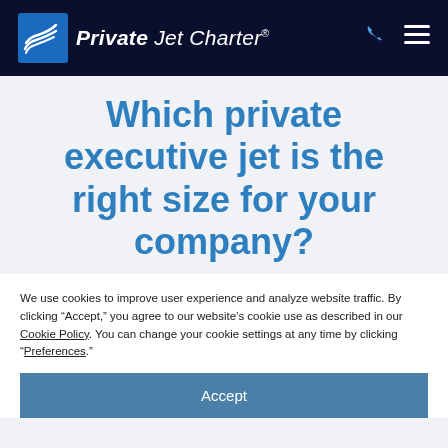Private Jet Charter
Which private executive jet is the right size for your company?
We use cookies to improve user experience and analyze website traffic. By clicking “Accept,” you agree to our website’s cookie use as described in our Cookie Policy. You can change your cookie settings at any time by clicking “Preferences.”
Accept